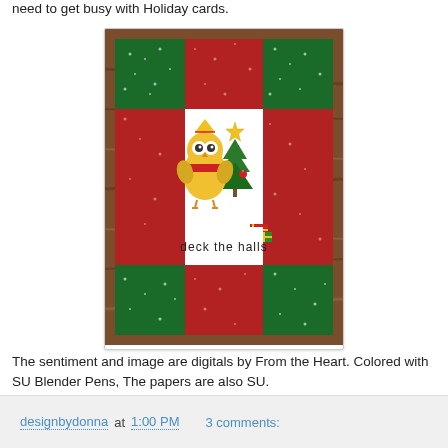need to get busy with Holiday cards.
[Figure (photo): A handmade Christmas card featuring a cute yellow owl wearing a red scarf and party hat, standing next to a Christmas tree with a star on top and wrapped gifts below. The card has a plaid pattern background in red and green with white dots, and reads 'deck the halls' at the bottom. The card is photographed on a wooden surface.]
The sentiment and image are digitals by From the Heart. Colored with SU Blender Pens, The papers are also SU.
designbydonna at 1:00 PM    3 comments: